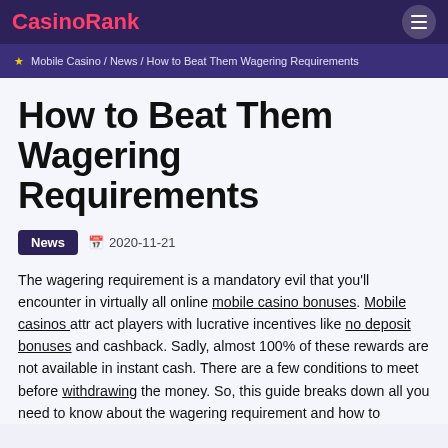CasinoRank
★ Mobile Casino / News / How to Beat Them Wagering Requirements
How to Beat Them Wagering Requirements
News  📅 2020-11-21
The wagering requirement is a mandatory evil that you'll encounter in virtually all online mobile casino bonuses. Mobile casinos attr act players with lucrative incentives like no deposit bonuses and cashback. Sadly, almost 100% of these rewards are not available in instant cash. There are a few conditions to meet before withdrawing the money. So, this guide breaks down all you need to know about the wagering requirement and how to